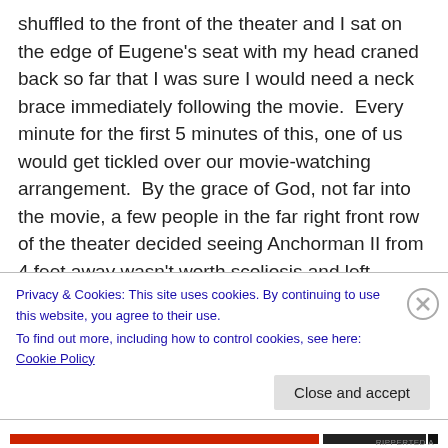shuffled to the front of the theater and I sat on the edge of Eugene's seat with my head craned back so far that I was sure I would need a neck brace immediately following the movie.  Every minute for the first 5 minutes of this, one of us would get tickled over our movie-watching arrangement.  By the grace of God, not far into the movie, a few people in the far right front row of the theater decided seeing Anchorman II from 4 feet away wasn't worth scoliosis and left. Instantly recognizing out moment of opportunity, Eugene, Lauren and I scurried across the front of the theater to the right side where we could each
Privacy & Cookies: This site uses cookies. By continuing to use this website, you agree to their use.
To find out more, including how to control cookies, see here: Cookie Policy
Close and accept
RIPPERTED A